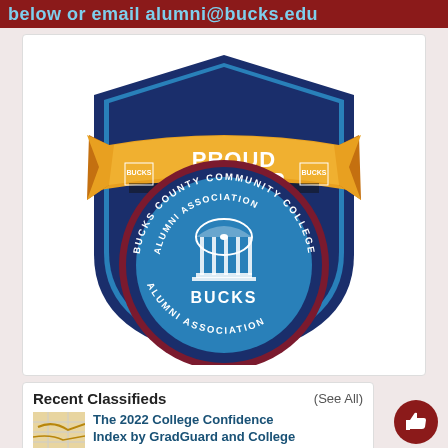below or email alumni@bucks.edu
[Figure (logo): Bucks County Community College Alumni Association 'Proud Member' shield badge with gold ribbon banner, dark blue shield, maroon ring with text 'Bucks County Community College Alumni Association', light blue circle with gazebo/dome illustration and 'BUCKS' text]
Recent Classifieds
(See All)
The 2022 College Confidence Index by GradGuard and College